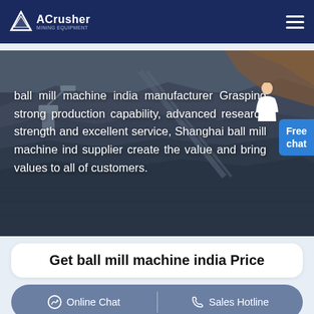ACrusher
[Figure (photo): Aerial view of a mining/quarry site with heavy machinery and rock/gravel terrain, used as hero background image for ball mill machine india manufacturer page]
ball mill machine india manufacturer Grasping strong production capability, advanced research strength and excellent service, Shanghai ball mill machine ind supplier create the value and bring values to all of customers.
Get ball mill machine india Price
Online Chat | Sales Hotline